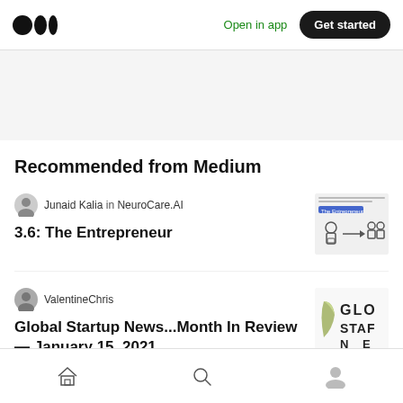Medium logo | Open in app | Get started
Recommended from Medium
Junaid Kalia in NeuroCare.AI
3.6: The Entrepreneur
ValentineChris
Global Startup News...Month In Review — January 15, 2021
Home | Search | Profile